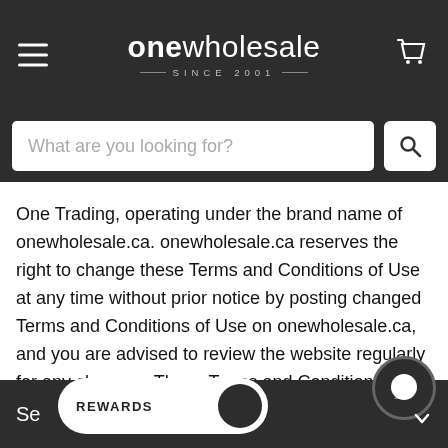onewholesale SINCE 2001
[Figure (screenshot): Search bar with placeholder text 'What are you looking for?' and a search button with magnifying glass icon]
One Trading, operating under the brand name of onewholesale.ca. onewholesale.ca reserves the right to change these Terms and Conditions of Use at any time without prior notice by posting changed Terms and Conditions of Use on onewholesale.ca, and you are advised to review the website regularly for any changes. These Terms and Conditions of Use were last updated on Feb 16, 2022. In any event, you agree that by accessing and using our website you are bound by these terms and conditions as may be changed from time to time.
Se... REWARDS